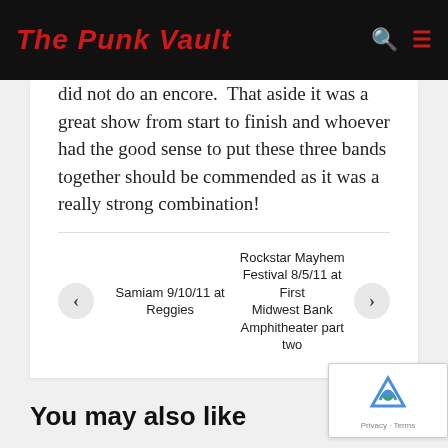The Punk Vault
did not do an encore.  That aside it was a great show from start to finish and whoever had the good sense to put these three bands together should be commended as it was a really strong combination!
← Samiam 9/10/11 at Reggies
Rockstar Mayhem Festival 8/5/11 at First Midwest Bank Amphitheater part two →
You may also like